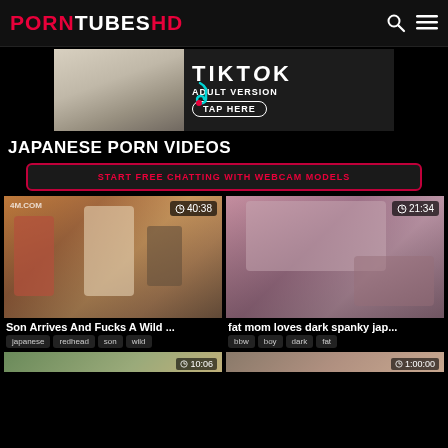PORNTUBES HD
[Figure (screenshot): TikTok Adult Version advertisement banner with TAP HERE button]
JAPANESE PORN VIDEOS
START FREE CHATTING WITH WEBCAM MODELS
[Figure (photo): Video thumbnail: Son Arrives And Fucks A Wild ... Duration 40:38, tags: japanese, redhead, son, wild]
[Figure (photo): Video thumbnail: fat mom loves dark spanky jap... Duration 21:34, tags: bbw, boy, dark, fat]
[Figure (photo): Partially visible video thumbnail at bottom left, duration ~10:06]
[Figure (photo): Partially visible video thumbnail at bottom right, duration ~1:00:00]